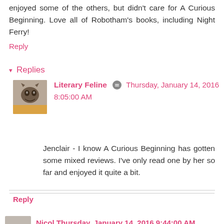enjoyed some of the others, but didn't care for A Curious Beginning. Love all of Robotham's books, including Night Ferry!
Reply
Replies
Literary Feline  Thursday, January 14, 2016 8:05:00 AM
Jenclair - I know A Curious Beginning has gotten some mixed reviews. I've only read one by her so far and enjoyed it quite a bit.
You read One of Us, I think. There was some description details I could have done without, but overall I liked Angels Burning. I didn't find it predictable--just really dark.
Reply
Nicol  Thursday, January 14, 2016 9:44:00 AM